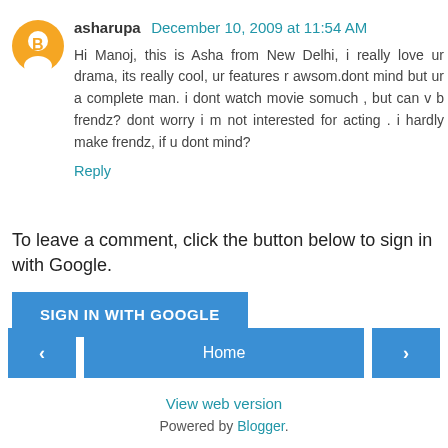asharupa December 10, 2009 at 11:54 AM
Hi Manoj, this is Asha from New Delhi, i really love ur drama, its really cool, ur features r awsom.dont mind but ur a complete man. i dont watch movie somuch , but can v b frendz? dont worry i m not interested for acting . i hardly make frendz, if u dont mind?
Reply
To leave a comment, click the button below to sign in with Google.
SIGN IN WITH GOOGLE
Home
View web version
Powered by Blogger.